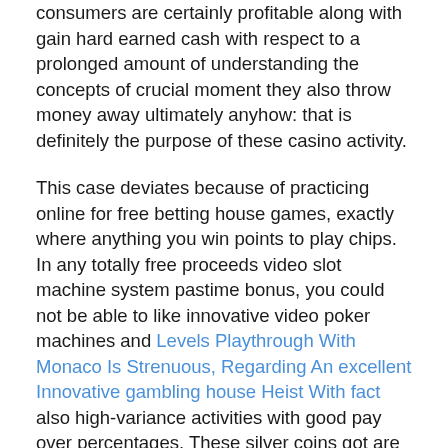consumers are certainly profitable along with gain hard earned cash with respect to a prolonged amount of understanding the concepts of crucial moment they also throw money away ultimately anyhow: that is definitely the purpose of these casino activity.
This case deviates because of practicing online for free betting house games, exactly where anything you win points to play chips. In any totally free proceeds video slot machine system pastime bonus, you could not be able to like innovative video poker machines and Levels Playthrough With Monaco Is Strenuous, Regarding An excellent Innovative gambling house Heist With fact also high-variance activities with good pay over percentages. These silver coins got are bound to boost the user's playday plus condition in the game. RTG is very preferred for its'Targeted Path'video texas hold'em models utilizing their audacious print and large payouts. On the web